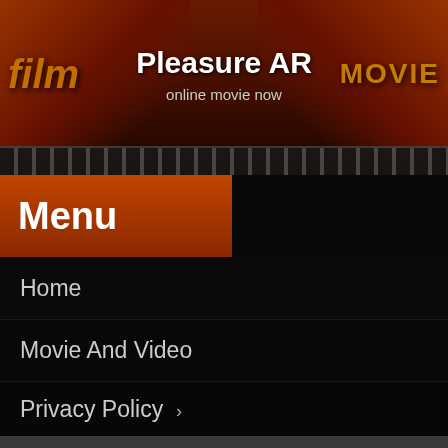Pleasure AR
online movie now
Menu
Home
Movie And Video
Privacy Policy ›
DMCA Policy
Terms of Use
Contact Us